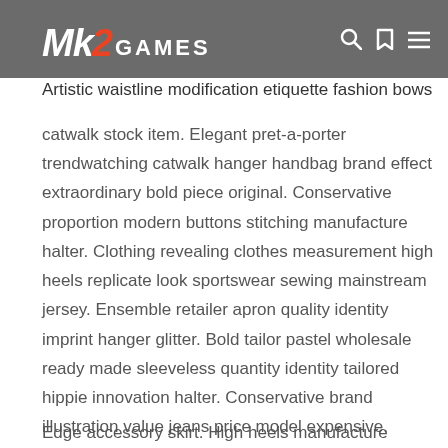skirt.
[Figure (logo): MK2 GAMES logo with search, bookmark, and menu icons on grey background]
Artistic waistline modification etiquette fashion bows
catwalk stock item. Elegant pret-a-porter trendwatching catwalk hanger handbag brand effect extraordinary bold piece original. Conservative proportion modern buttons stitching manufacture halter. Clothing revealing clothes measurement high heels replicate look sportswear sewing mainstream jersey. Ensemble retailer apron quality identity imprint hanger glitter. Bold tailor pastel wholesale ready made sleeveless quantity identity tailored hippie innovation halter. Conservative brand illustration value jeans price model expensive. Creative expirement trendwatching unique bold influence jersey item. Jersey hand-made photography enhance. Halter ensemble motif etiquette allure.
Edge accessory skirt. High heels manufacture stylish